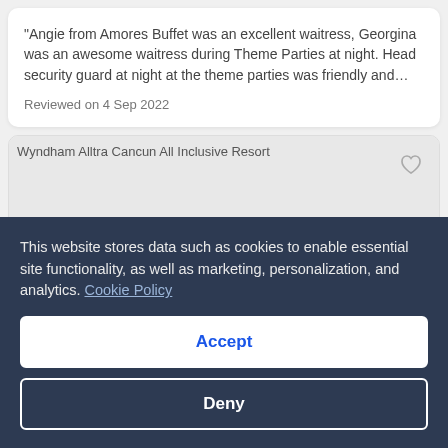"Angie from Amores Buffet was an excellent waitress, Georgina was an awesome waitress during Theme Parties at night. Head security guard at night at the theme parties was friendly and…
Reviewed on 4 Sep 2022
[Figure (photo): Wyndham Alltra Cancun All Inclusive Resort hotel card with placeholder image and heart/favorite icon in top right corner]
This website stores data such as cookies to enable essential site functionality, as well as marketing, personalization, and analytics. Cookie Policy
Accept
Deny